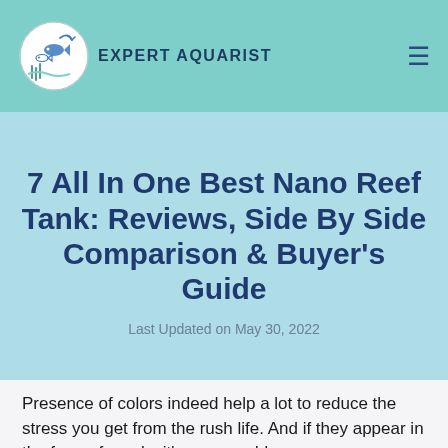Expert Aquarist
7 All In One Best Nano Reef Tank: Reviews, Side By Side Comparison & Buyer's Guide
Last Updated on May 30, 2022
Presence of colors indeed help a lot to reduce the stress you get from the rush life. And if they appear in the form of corals, it's gonna add...